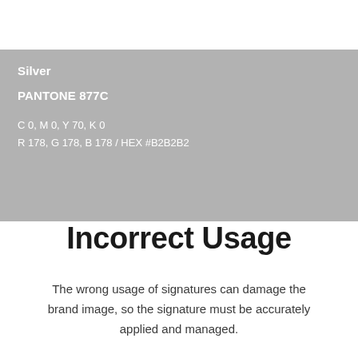Silver
PANTONE 877C
C 0, M 0, Y 70, K 0
R 178, G 178, B 178 / HEX #B2B2B2
Incorrect Usage
The wrong usage of signatures can damage the brand image, so the signature must be accurately applied and managed.